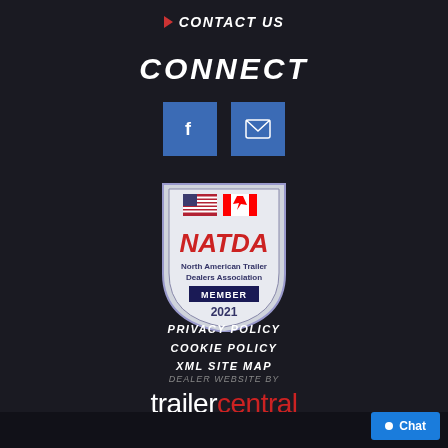CONTACT US
CONNECT
[Figure (logo): Facebook icon (white 'f' on blue square) and email envelope icon on blue square]
[Figure (logo): NATDA North American Trailer Dealers Association Member 2021 badge/shield with US and Canadian flags]
PRIVACY POLICY
COOKIE POLICY
XML SITE MAP
DEALER WEBSITE by
trailercentral